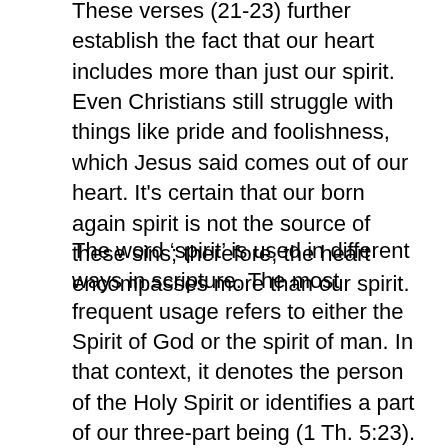These verses (21-23) further establish the fact that our heart includes more than just our spirit. Even Christians still struggle with things like pride and foolishness, which Jesus said comes out of our heart. It's certain that our born again spirit is not the source of these sins; therefore, the heart encompasses more than our spirit.
The word ‘spirit’ is used in different ways in scripture. The most frequent usage refers to either the Spirit of God or the spirit of man. In that context, it denotes the person of the Holy Spirit or identifies a part of our three-part being (1 Th. 5:23). But the word ‘spirit’ can also describe a mental disposition (Strong).